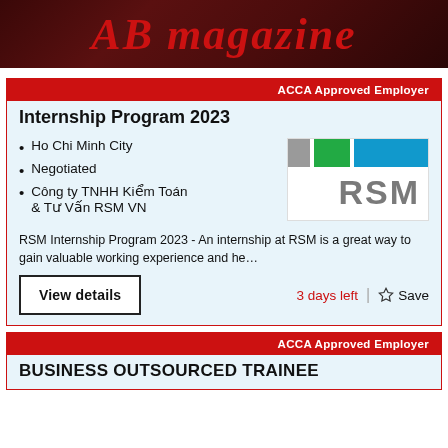[Figure (logo): AB magazine header banner with dark red/maroon background and red italic text reading 'AB magazine']
ACCA Approved Employer
Internship Program 2023
Ho Chi Minh City
Negotiated
Công ty TNHH Kiểm Toán & Tư Vấn RSM VN
[Figure (logo): RSM logo with colored bars (grey, green, blue) on top and RSM text below in grey]
RSM Internship Program 2023 - An internship at RSM is a great way to gain valuable working experience and he…
View details
3 days left
Save
ACCA Approved Employer
BUSINESS OUTSOURCED TRAINEE